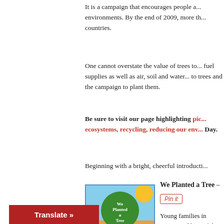It is a campaign that encourages people a... environments. By the end of 2009, more th... countries.
One cannot overstate the value of trees to... fuel supplies as well as air, soil and water... to trees and the campaign to plant them.
Be sure to visit our page highlighting pic... ecosystems, recycling, reducing our env... Day.
Beginning with a bright, cheerful introducti...
[Figure (illustration): Book cover of 'We Planted a Tree' showing a large green tree with families beneath it]
We Planted a Tree –
Pin it
Young families in Broo... and beautiful picture b... blossoms in Paris.
Translate »